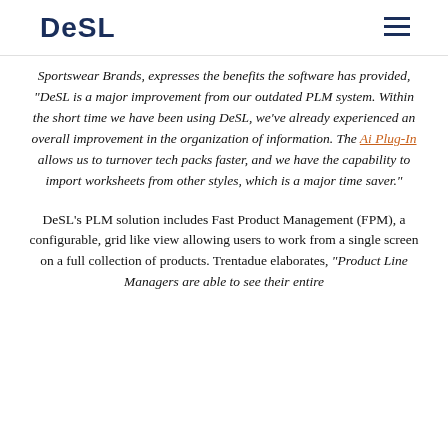DeSL
Sportswear Brands, expresses the benefits the software has provided, “DeSL is a major improvement from our outdated PLM system. Within the short time we have been using DeSL, we’ve already experienced an overall improvement in the organization of information. The Ai Plug-In allows us to turnover tech packs faster, and we have the capability to import worksheets from other styles, which is a major time saver.”
DeSL’s PLM solution includes Fast Product Management (FPM), a configurable, grid like view allowing users to work from a single screen on a full collection of products. Trentadue elaborates, “Product Line Managers are able to see their entire